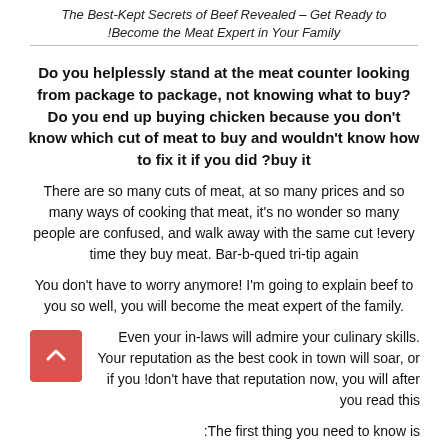The Best-Kept Secrets of Beef Revealed – Get Ready to !Become the Meat Expert in Your Family
Do you helplessly stand at the meat counter looking from package to package, not knowing what to buy? Do you end up buying chicken because you don't know which cut of meat to buy and wouldn't know how to fix it if you did ?buy it
There are so many cuts of meat, at so many prices and so many ways of cooking that meat, it's no wonder so many people are confused, and walk away with the same cut !every time they buy meat. Bar-b-qued tri-tip again
You don't have to worry anymore! I'm going to explain beef to you so well, you will become the meat expert of the family.
Even your in-laws will admire your culinary skills. Your reputation as the best cook in town will soar, or if you don't have that reputation now, you will after you read this!
The first thing you need to know is: